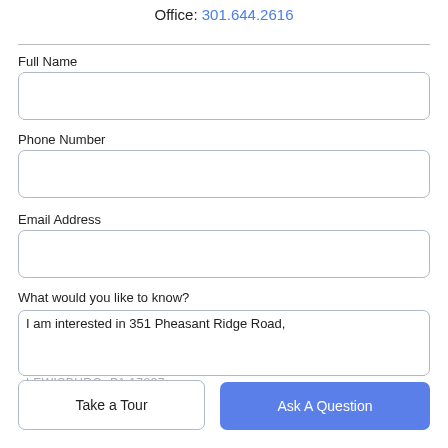Office: 301.644.2616
Full Name
Phone Number
Email Address
What would you like to know?
I am interested in 351 Pheasant Ridge Road,
LEWISBURG, PA 17837
Take a Tour
Ask A Question